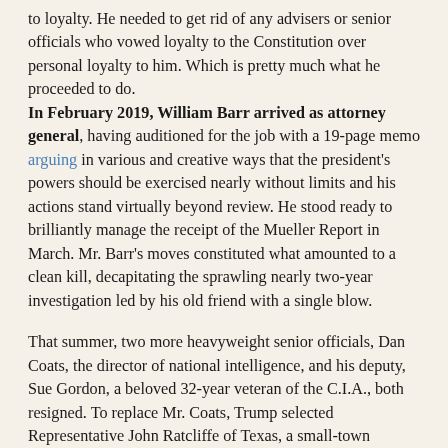to loyalty. He needed to get rid of any advisers or senior officials who vowed loyalty to the Constitution over personal loyalty to him. Which is pretty much what he proceeded to do. In February 2019, William Barr arrived as attorney general, having auditioned for the job with a 19-page memo arguing in various and creative ways that the president's powers should be exercised nearly without limits and his actions stand virtually beyond review. He stood ready to brilliantly manage the receipt of the Mueller Report in March. Mr. Barr's moves constituted what amounted to a clean kill, decapitating the sprawling nearly two-year investigation led by his old friend with a single blow.
That summer, two more heavyweight senior officials, Dan Coats, the director of national intelligence, and his deputy, Sue Gordon, a beloved 32-year veteran of the C.I.A., both resigned. To replace Mr. Coats, Trump selected Representative John Ratcliffe of Texas, a small-town mayor-turned-congressman with no meaningful experience in intelligence — who quickly withdrew from consideration after news reports questioned his qualifications; he lacked support among key Republican senators as well. Mr. Trump then picked a communications official in the administration of George W. Bush and ambassador to Germany under Mr. Trump,